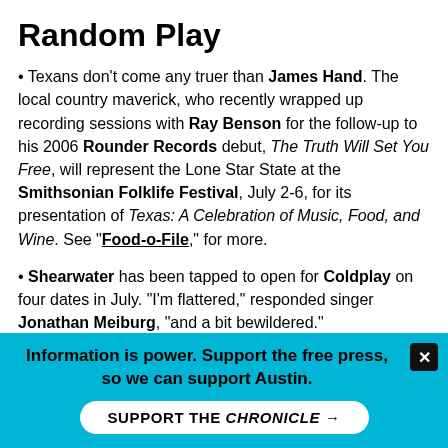Random Play
Texans don't come any truer than James Hand. The local country maverick, who recently wrapped up recording sessions with Ray Benson for the follow-up to his 2006 Rounder Records debut, The Truth Will Set You Free, will represent the Lone Star State at the Smithsonian Folklife Festival, July 2-6, for its presentation of Texas: A Celebration of Music, Food, and Wine. See "Food-o-File," for more.
Shearwater has been tapped to open for Coldplay on four dates in July. "I'm flattered," responded singer Jonathan Meiburg, "and a bit bewildered."
Having conquered NBC this past week with scorching performances on both The Today Show and Late Night With Conan O'Brien, Alejandro Escovedo is confirmed to appear on Late Show With David Letterman on Aug. 7. The local legend headlines the sixth annual Keep Austin Weird Festival at Auditorium
Information is power. Support the free press, so we can support Austin.
SUPPORT THE CHRONICLE →